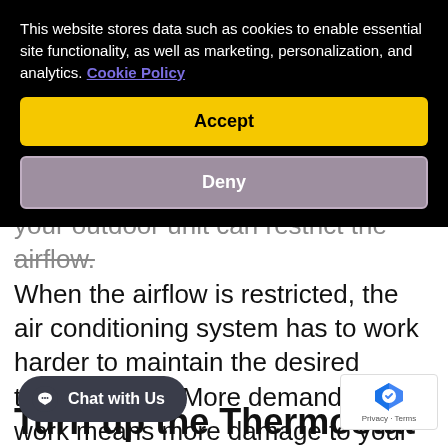your outdoor unit can restrict the airflow. When the airflow is restricted, the air conditioning system has to work harder to maintain the desired temperatures. More demanding work means more damage to your unit and its components, which can eventually lead to the need for an AC replacement.
[Figure (screenshot): Cookie consent banner overlay with black background. Text reads: 'This website stores data such as cookies to enable essential site functionality, as well as marketing, personalization, and analytics. Cookie Policy'. Two buttons: 'Accept' (yellow) and 'Deny' (gray/mauve).]
Turn up the Thermostat
Chat with Us
Privacy · Terms